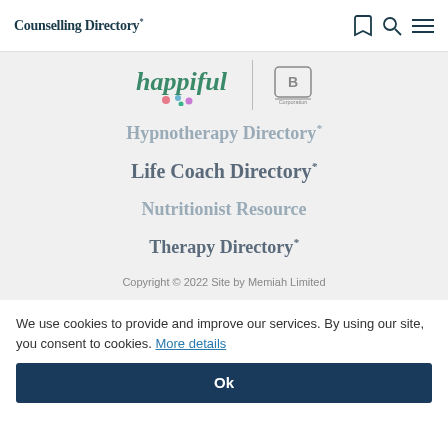Counselling Directory*
[Figure (logo): Happiful logo with colorful dots and a B Corporation logo with 'Corporation' text below, separated by a vertical divider line]
Hypnotherapy Directory*
Life Coach Directory*
Nutritionist Resource
Therapy Directory*
Copyright © 2022 Site by Memiah Limited
We use cookies to provide and improve our services. By using our site, you consent to cookies. More details
Ok